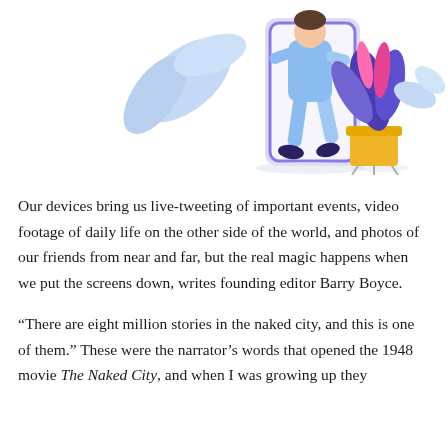[Figure (illustration): A flat-style illustration showing a person stepping out of a large smartphone screen, with blue/light-blue clothing and dark shoes. To the right is a potted plant with pink and purple leaves in a yellow/gold pot. The background has decorative leaf shapes in light blue.]
Our devices bring us live-tweeting of important events, video footage of daily life on the other side of the world, and photos of our friends from near and far, but the real magic happens when we put the screens down, writes founding editor Barry Boyce.
“There are eight million stories in the naked city, and this is one of them.” These were the narrator’s words that opened the 1948 movie The Naked City, and when I was growing up they